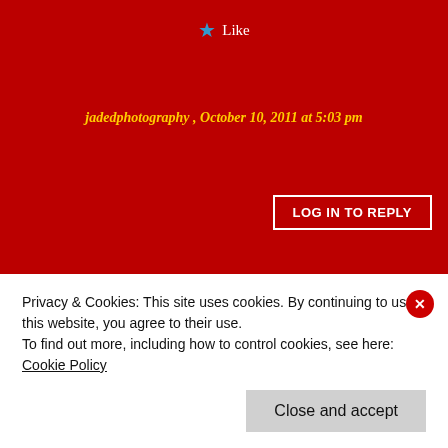★ Like
jadedphotography , October 10, 2011 at 5:03 pm
LOG IN TO REPLY
[Figure (illustration): Small avatar image of a decorated Christmas tree with ornaments and bells on a white background]
Great post. Thanks.
★ Like
Studying Resources , September 17, 2011 at 12:32 am
Privacy & Cookies: This site uses cookies. By continuing to use this website, you agree to their use.
To find out more, including how to control cookies, see here: Cookie Policy
Close and accept